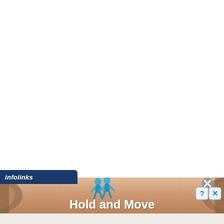[Figure (screenshot): White blank area filling the top two-thirds of the page, representing a webpage content area]
[Figure (screenshot): Infolinks ad banner at the bottom of the page. Dark blue 'infolinks' tab in the top-left corner. Banner shows a wooden bowling lane background with two blue cartoon human figure icons and bold white text 'Hold and Move'. A circular close/help button cluster appears in the top-right of the banner.]